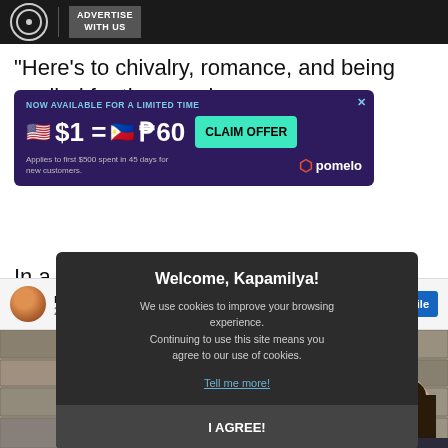ADVERTISE WITH US
"Here’s to chivalry, romance, and being spoiled for the remain…ng her post re…
[Figure (screenshot): Advertisement banner: NOW AVAILABLE FOR A LIMITED TIME. $1 = P60. CLAIM OFFER. Applies to first $500 spent in 45 days for new customers. pomelo logo.]
In a sub… you get a plaque or something if you have two babies in a pandemic?'
[Figure (screenshot): Cookie consent modal: Welcome, Kapamilya! We use cookies to improve your browsing experience. Continuing to use this site means you agree to our use of cookies. Tell me more! I AGREE!]
[Figure (screenshot): Social media profile card with avatar, name 'misc', 206K followers, and 'ew profile' (view profile) button.]
[Figure (photo): Bottom photo strip showing stone wall background and partial view of a woman's face.]